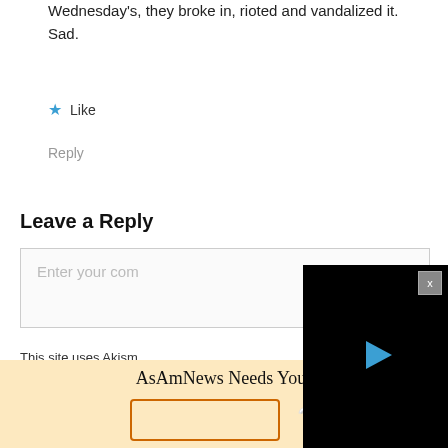Wednesday's, they broke in, rioted and vandalized it. Sad.
★ Like
Reply
Leave a Reply
Enter your comment...
[Figure (screenshot): Black video player overlay with close (X) button in top-right corner and blue play triangle button in center]
This site uses Akism... data is processed.
AsAmNews Needs You!